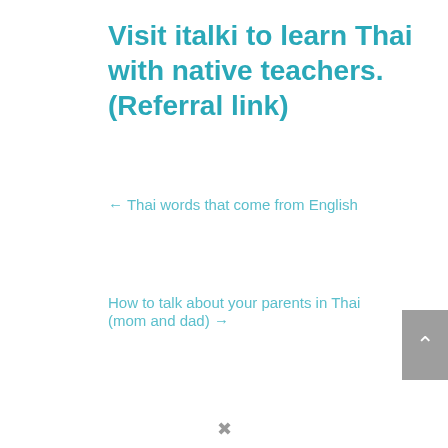Visit italki to learn Thai with native teachers. (Referral link)
← Thai words that come from English
How to talk about your parents in Thai (mom and dad) →